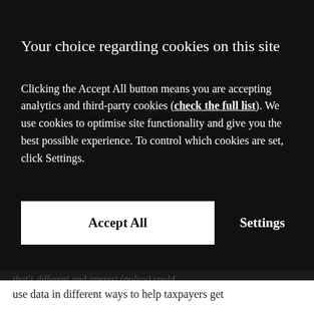Your choice regarding cookies on this site
Clicking the Accept All button means you are accepting analytics and third-party cookies (check the full list). We use cookies to optimise site functionality and give you the best possible experience. To control which cookies are set, click Settings.
Accept All
Settings
use data in different ways to help taxpayers get